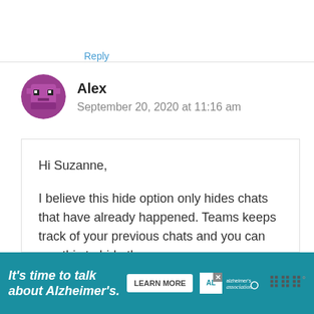Reply
Alex
September 20, 2020 at 11:16 am
Hi Suzanne,

I believe this hide option only hides chats that have already happened. Teams keeps track of your previous chats and you can use this to hide the
[Figure (infographic): Alzheimer's Association advertisement banner: 'It's time to talk about Alzheimer's.' with a Learn More button and the Alzheimer's Association logo]